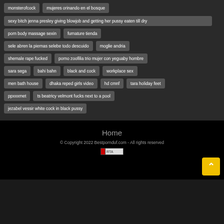monsterofcock
mujeres orinando en el bosque
sexy bitch jenna presley giving blowjob and getting her pussy eaten till dry
porn body massage sexin
furnature tienda
sele abren la piernas selebe todo descuido
moglie andria
shemale rape fucked
porno zoofilia trio mujer con yeguaby hombre
sara sega
bahi bahn
black and cock
workplace sex
men bath house
dhaka reped girls video
hd cmnf
tara holiday feet
ppxxxmet
ts beatricy velmont fucks next to a pool
jezabel vessir white cock in black pussy
Home
© Copyright 2022 Bestpornduf.com - All rights reserved